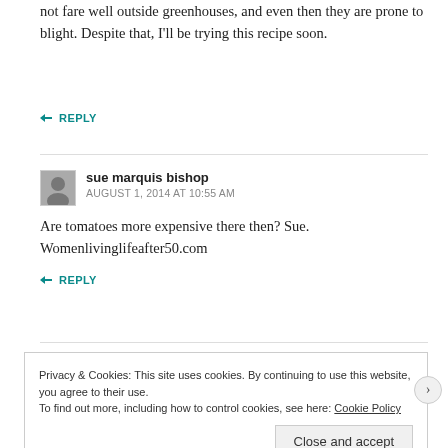not fare well outside greenhouses, and even then they are prone to blight. Despite that, I'll be trying this recipe soon.
↪ REPLY
sue marquis bishop
AUGUST 1, 2014 AT 10:55 AM
Are tomatoes more expensive there then? Sue. Womenlivinglifeafter50.com
↪ REPLY
Privacy & Cookies: This site uses cookies. By continuing to use this website, you agree to their use.
To find out more, including how to control cookies, see here: Cookie Policy
Close and accept